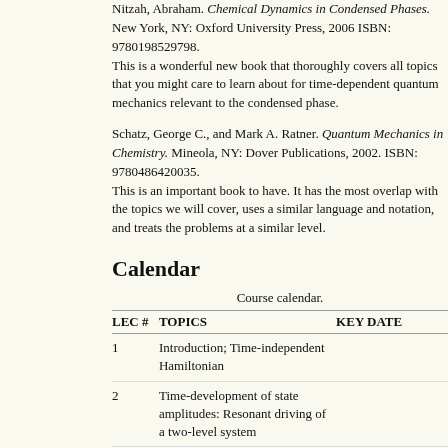Nitzah, Abraham. Chemical Dynamics in Condensed Phases. New York, NY: Oxford University Press, 2006 ISBN: 9780198529798. This is a wonderful new book that thoroughly covers all topics that you might care to learn about for time-dependent quantum mechanics relevant to the condensed phase.
Schatz, George C., and Mark A. Ratner. Quantum Mechanics in Chemistry. Mineola, NY: Dover Publications, 2002. ISBN: 9780486420035. This is an important book to have. It has the most overlap with the topics we will cover, uses a similar language and notation, and treats the problems at a similar level.
Calendar
Course calendar.
| LEC # | TOPICS | KEY DATES |
| --- | --- | --- |
| 1 | Introduction; Time-independent Hamiltonian |  |
| 2 | Time-development of state amplitudes: Resonant driving of a two-level system |  |
| 3 | Quantum dynamics: The time-evolution operator | Problem set 1 due |
| 4 | The Schrodinger, Heisenberg, |  |